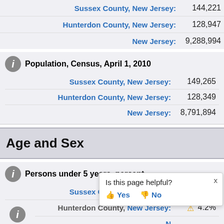Sussex County, New Jersey: 144,221
Hunterdon County, New Jersey: 128,947
New Jersey: 9,288,994
Population, Census, April 1, 2010
Sussex County, New Jersey: 149,265
Hunterdon County, New Jersey: 128,349
New Jersey: 8,791,894
Age and Sex
Persons under 5 years, percent
Sussex County, New Jersey: 4.6%
Hunterdon County, New Jersey: 4.2%
Is this page helpful? Yes No